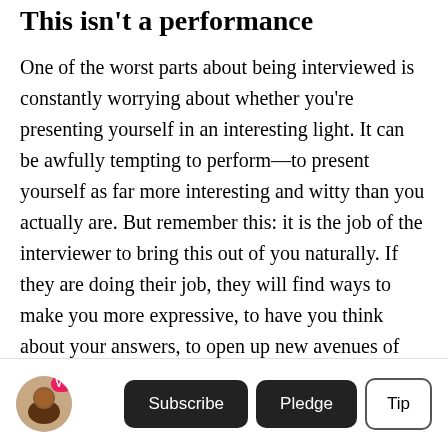This isn't a performance
One of the worst parts about being interviewed is constantly worrying about whether you're presenting yourself in an interesting light. It can be awfully tempting to perform—to present yourself as far more interesting and witty than you actually are. But remember this: it is the job of the interviewer to bring this out of you naturally. If they are doing their job, they will find ways to make you more expressive, to have you think about your answers, to open up new avenues of inquiry. This is on them, not on you.
Subscribe  Pledge  Tip